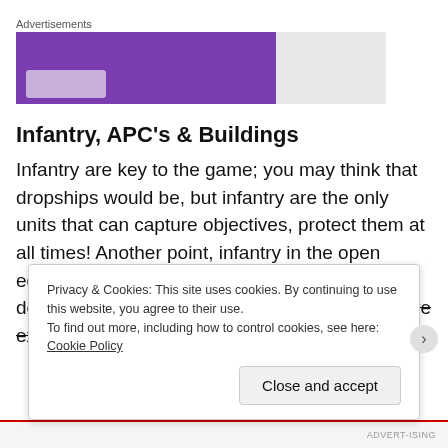Advertisements
[Figure (other): Advertisement banner: purple background with a lighter button mock, gray area to the right]
Infantry, APC’s & Buildings
Infantry are key to the game; you may think that dropships would be, but infantry are the only units that can capture objectives, protect them at all times! Another point, infantry in the open equals dead infantry! Close combat is devastating, at least it was in our game and Dave explained that it’s meant to be
Privacy & Cookies: This site uses cookies. By continuing to use this website, you agree to their use.
To find out more, including how to control cookies, see here: Cookie Policy
Close and accept